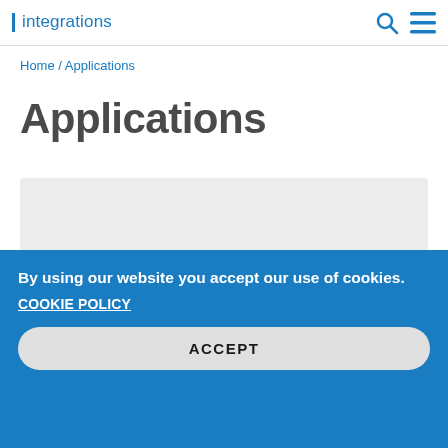integrations
Home / Applications
Applications
[Figure (illustration): Gray banner area with a blue concentric arc/wifi-style icon graphic on the right side]
By using our website you accept our use of cookies.
COOKIE POLICY
ACCEPT